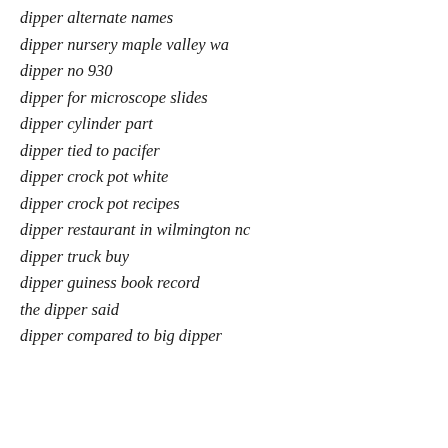dipper alternate names
dipper nursery maple valley wa
dipper no 930
dipper for microscope slides
dipper cylinder part
dipper tied to pacifer
dipper crock pot white
dipper crock pot recipes
dipper restaurant in wilmington nc
dipper truck buy
dipper guiness book record
the dipper said
dipper compared to big dipper